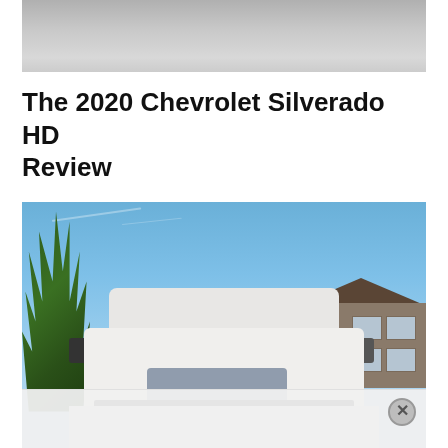[Figure (photo): Partial photo visible at top of page, gray/silver toned surface]
The 2020 Chevrolet Silverado HD Review
[Figure (photo): 2020 Chevrolet Silverado HD white truck photographed from front, parked outdoors against blue sky with trees and a building visible in background. An advertisement bar is partially overlaying the bottom of the image with a close (X) button.]